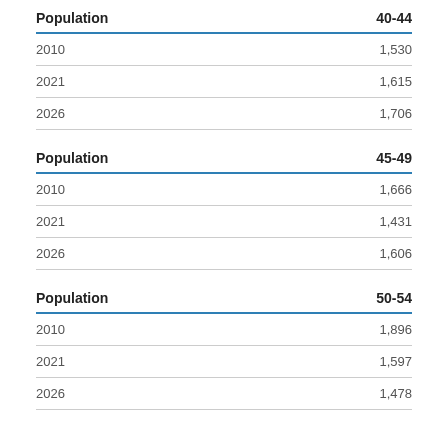| Population | 40-44 |
| --- | --- |
| 2010 | 1,530 |
| 2021 | 1,615 |
| 2026 | 1,706 |
| Population | 45-49 |
| --- | --- |
| 2010 | 1,666 |
| 2021 | 1,431 |
| 2026 | 1,606 |
| Population | 50-54 |
| --- | --- |
| 2010 | 1,896 |
| 2021 | 1,597 |
| 2026 | 1,478 |